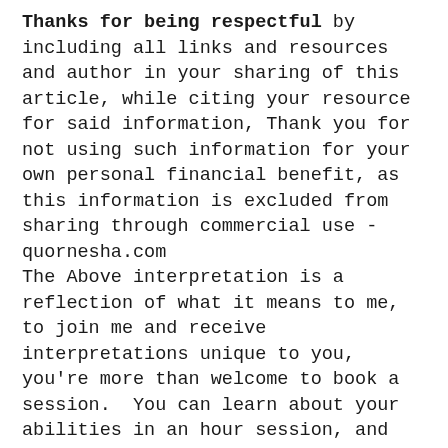Thanks for being respectful by including all links and resources and author in your sharing of this article, while citing your resource for said information, Thank you for not using such information for your own personal financial benefit, as this information is excluded from sharing through commercial use - quornesha.com
The Above interpretation is a reflection of what it means to me, to join me and receive interpretations unique to you, you're more than welcome to book a session.  You can learn about your abilities in an hour session, and consecutively follow up with as many sessions as possible to